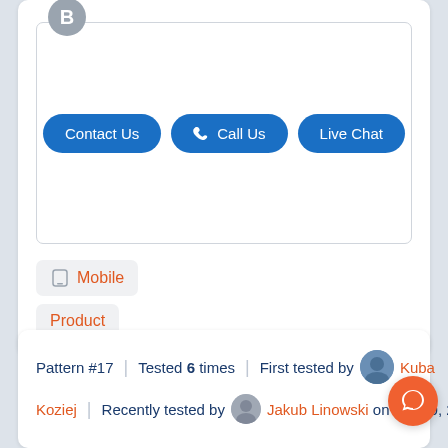[Figure (screenshot): A white card with a grey circle badge labeled B in the top left. Inside the card is a bordered box showing three blue rounded buttons: Contact Us, Call Us (with phone icon), and Live Chat. Below the box are two tags: Mobile (with mobile icon) and Product.]
Mobile
Product
Pattern #17 | Tested 6 times | First tested by Kuba Koziej | Recently tested by Jakub Linowski on Oct 30, 2